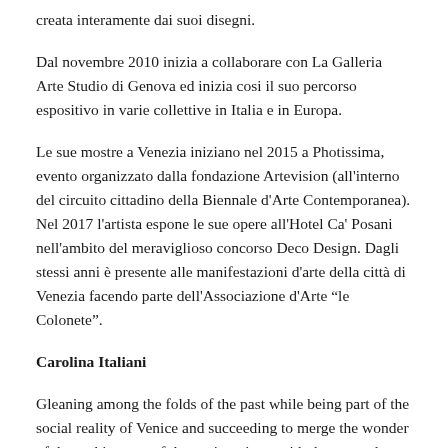creata interamente dai suoi disegni.
Dal novembre 2010 inizia a collaborare con La Galleria Arte Studio di Genova ed inizia cosi il suo percorso espositivo in varie collettive in Italia e in Europa.
Le sue mostre a Venezia iniziano nel 2015 a Photissima, evento organizzato dalla fondazione Artevision (all'interno del circuito cittadino della Biennale d'Arte Contemporanea). Nel 2017 l'artista espone le sue opere all'Hotel Ca' Posani nell'ambito del meraviglioso concorso Deco Design. Dagli stessi anni è presente alle manifestazioni d'arte della città di Venezia facendo parte dell'Associazione d'Arte “le Colonete”.
Carolina Italiani
Gleaning among the folds of the past while being part of the social reality of Venice and succeeding to merge the wonder of the architecture of the ancient times with the every day reality.